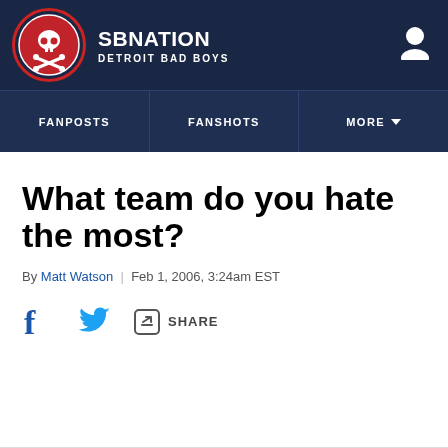SBNation DETROIT BAD BOYS
What team do you hate the most?
By Matt Watson | Feb 1, 2006, 3:24am EST
SHARE